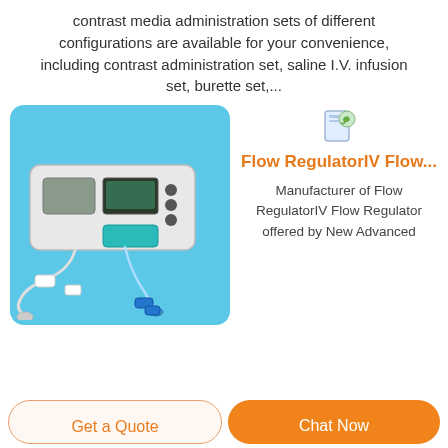contrast media administration sets of different configurations are available for your convenience, including contrast administration set, saline I.V. infusion set, burette set,...
[Figure (photo): A syringe infusion pump device with IV tubing and connectors on a blue background, shown inside a rounded rectangle.]
[Figure (logo): Small icon showing a document with a green leaf/recycle symbol.]
Flow RegulatorIV Flow...
Manufacturer of Flow RegulatorIV Flow Regulator offered by New Advanced
Get a Quote
Chat Now